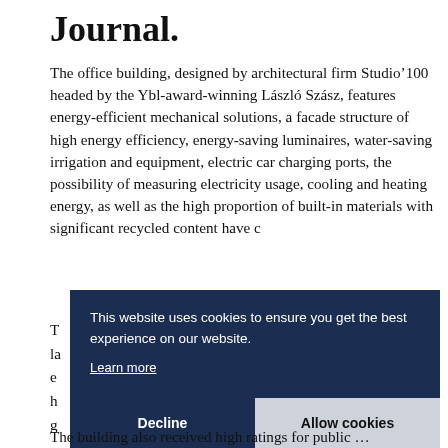Journal.
The office building, designed by architectural firm Studio'100 headed by the Ybl-award-winning László Szász, features energy-efficient mechanical solutions, a facade structure of high energy efficiency, energy-saving luminaires, water-saving irrigation and equipment, electric car charging ports, the possibility of measuring electricity usage, cooling and heating energy, as well as the high proportion of built-in materials with significant recycled content have c…
T… la… e… h… g…
[Figure (screenshot): Cookie consent overlay banner with dark navy background. Text reads: 'This website uses cookies to ensure you get the best experience on our website.' with a 'Learn more' underlined link. Below are two buttons: 'Decline' on the left (dark navy) and 'Allow cookies' on the right (light grey).]
The building also received high ratings for public …